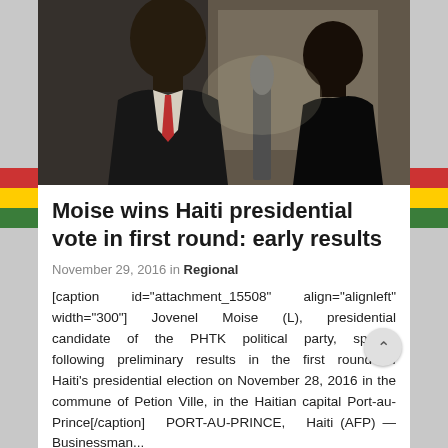[Figure (photo): Two people at a podium with a microphone. A man in a suit with a red tie speaks, and a woman stands behind him looking on. Black and white/dark toned photograph.]
Moise wins Haiti presidential vote in first round: early results
November 29, 2016 in Regional
[caption id="attachment_15508" align="alignleft" width="300"] Jovenel Moise (L), presidential candidate of the PHTK political party, speaks following preliminary results in the first round of Haiti's presidential election on November 28, 2016 in the commune of Petion Ville, in the Haitian capital Port-au-Prince[/caption]  PORT-AU-PRINCE, Haiti (AFP) — Businessman...